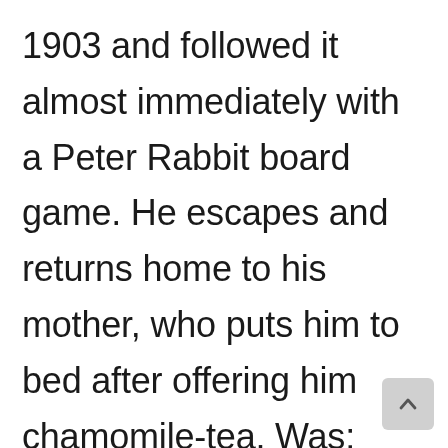1903 and followed it almost immediately with a Peter Rabbit board game. He escapes and returns home to his mother, who puts him to bed after offering him chamomile-tea. Was: £5.99. Since its release, the book has generated considerable merchandise for both children and adults, including toys, dishes, foods, clothing, and